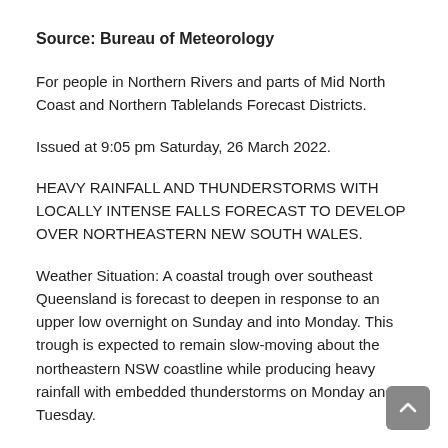Source: Bureau of Meteorology
For people in Northern Rivers and parts of Mid North Coast and Northern Tablelands Forecast Districts.
Issued at 9:05 pm Saturday, 26 March 2022.
HEAVY RAINFALL AND THUNDERSTORMS WITH LOCALLY INTENSE FALLS FORECAST TO DEVELOP OVER NORTHEASTERN NEW SOUTH WALES.
Weather Situation: A coastal trough over southeast Queensland is forecast to deepen in response to an upper low overnight on Sunday and into Monday. This trough is expected to remain slow-moving about the northeastern NSW coastline while producing heavy rainfall with embedded thunderstorms on Monday and Tuesday.
HEAVY RAINFALL which may lead to FLASH FLOODING is forecast to develop over northern parts of northeast New South Wales during Monday afternoon, with the focus of the rainfall slowly shifting south